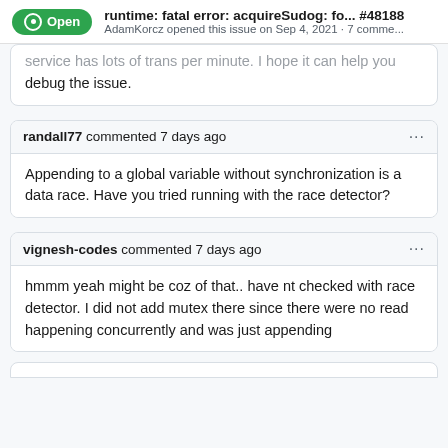runtime: fatal error: acquireSudog: fo... #48188 AdamKorcz opened this issue on Sep 4, 2021 · 7 comme...
service has lots of trans per minute. I hope it can help you debug the issue.
randall77 commented 7 days ago
Appending to a global variable without synchronization is a data race. Have you tried running with the race detector?
vignesh-codes commented 7 days ago
hmmm yeah might be coz of that.. have nt checked with race detector. I did not add mutex there since there were no read happening concurrently and was just appending